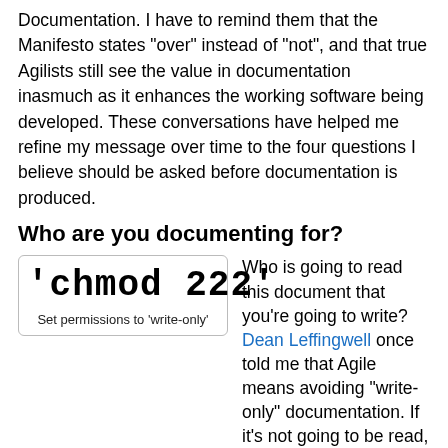Documentation. I have to remind them that the Manifesto states "over" instead of "not", and that true Agilists still see the value in documentation inasmuch as it enhances the working software being developed. These conversations have helped me refine my message over time to the four questions I believe should be asked before documentation is produced.
Who are you documenting for?
[Figure (other): A box showing the command 'chmod 222' in large monospace font with caption 'Set permissions to 'write-only'']
Who is going to read this document that you're going to write? Dean Leffingwell once told me that Agile means avoiding "write-only" documentation. If it's not going to be read, why write it?
Understanding your audience also impacts how you write your documentation. Speak to the level and with the verbiage which which your consumer is most comfortable. This is similar logic to why we include the user in the standard User Story format.